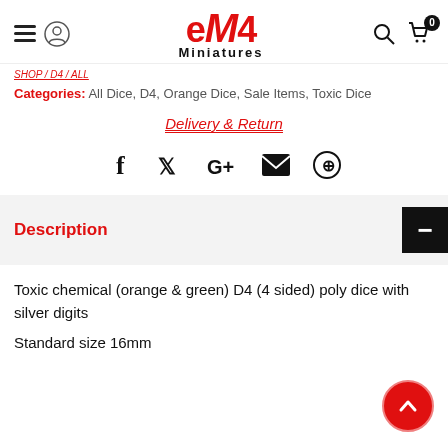eM4 Miniatures
Categories: All Dice, D4, Orange Dice, Sale Items, Toxic Dice
Delivery & Return
[Figure (infographic): Social share icons: Facebook, Twitter, Google+, Email, Pinterest]
Description
Toxic chemical (orange & green) D4 (4 sided) poly dice with silver digits
Standard size 16mm